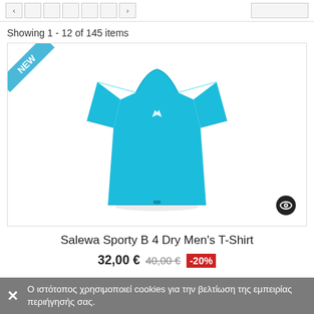Showing 1 - 12 of 145 items
[Figure (photo): Salewa Sporty B 4 Dry Men's T-Shirt in cyan/turquoise color, displayed on a white background, with a NEW ribbon badge in the top-left corner and an eye icon in the bottom-right corner of the product card]
Salewa Sporty B 4 Dry Men's T-Shirt
32,00 € 40,00 € -20%
Ο ιστότοπος χρησιμοποιεί cookies για την βελτίωση της εμπειρίας περιήγησής σας.